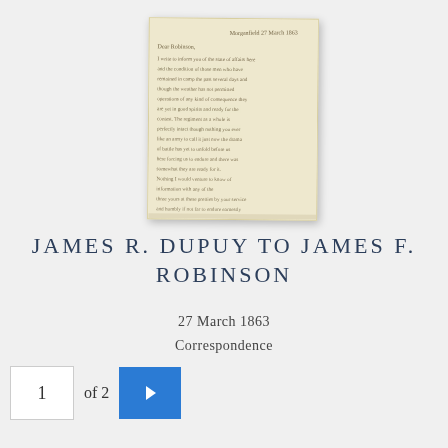[Figure (photo): Thumbnail image of a handwritten letter on aged cream paper, showing cursive script in ink, tilted slightly.]
JAMES R. DUPUY TO JAMES F. ROBINSON
27 March 1863
Correspondence
1 of 2 ▶